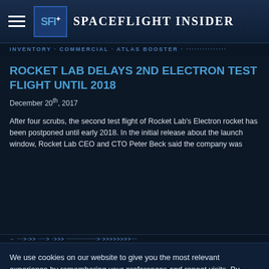Spaceflight Insider
ROCKET LAB DELAYS 2ND ELECTRON TEST FLIGHT UNTIL 2018
December 20th, 2017
After four scrubs, the second test flight of Rocket Lab's Electron rocket has been postponed until early 2018. In the initial release about the launch window, Rocket Lab CEO and CTO Peter Beck said the company was expecting to scrub multiple times as it waits for the perfect conditions and ensures everything on the vehicle performs as designed. That patience was and continues to be needed.
We use cookies on our website to give you the most relevant experience by remembering your preferences and repeat visits. By clicking “Accept”, you consent to the use of ALL the cookies.
Privacy Policy
ACCEPT